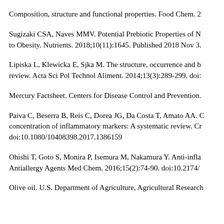Composition, structure and functional properties. Food Chem. 2…
Sugizaki CSA, Naves MMV. Potential Prebiotic Properties of N… to Obesity. Nutrients. 2018;10(11):1645. Published 2018 Nov 3.
Lipiska L, Klewicka E, Sjka M. The structure, occurrence and b… review. Acta Sci Pol Technol Aliment. 2014;13(3):289-299. doi:…
Mercury Factsheet. Centers for Disease Control and Prevention.
Paiva C, Beserra B, Reis C, Dorea JG, Da Costa T, Amato AA. … concentration of inflammatory markers: A systematic review. Cr… doi:10.1080/10408398.2017.1386159
Ohishi T, Goto S, Monira P, Isemura M, Nakamura Y. Anti-infla… Antiallergy Agents Med Chem. 2016;15(2):74-90. doi:10.2174/…
Olive oil. U.S. Department of Agriculture, Agricultural Research…